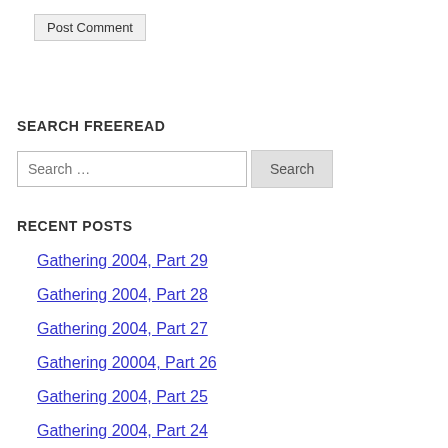Post Comment
SEARCH FREEREAD
Search …
RECENT POSTS
Gathering 2004, Part 29
Gathering 2004, Part 28
Gathering 2004, Part 27
Gathering 20004, Part 26
Gathering 2004, Part 25
Gathering 2004, Part 24